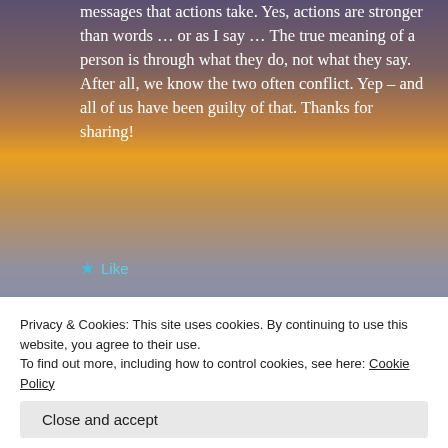messages that actions take. Yes, actions are stronger than words … or as I say … The true meaning of a person is through what they do, not what they say. After all, we know the two often conflict. Yep – and all of us have been guilty of that. Thanks for sharing!
Like
REPLY
cindy knoke
February 19, 2022 at 7:38 pm
Privacy & Cookies: This site uses cookies. By continuing to use this website, you agree to their use.
To find out more, including how to control cookies, see here: Cookie Policy
Close and accept
REPLY